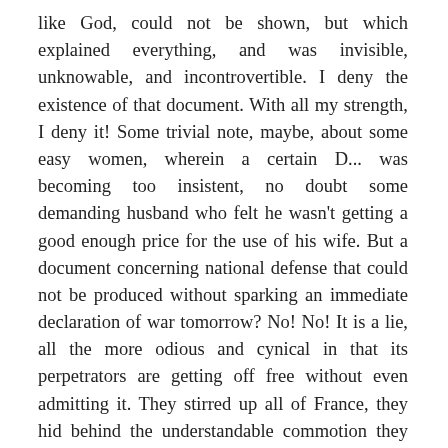like God, could not be shown, but which explained everything, and was invisible, unknowable, and incontrovertible. I deny the existence of that document. With all my strength, I deny it! Some trivial note, maybe, about some easy women, wherein a certain D... was becoming too insistent, no doubt some demanding husband who felt he wasn't getting a good enough price for the use of his wife. But a document concerning national defense that could not be produced without sparking an immediate declaration of war tomorrow? No! No! It is a lie, all the more odious and cynical in that its perpetrators are getting off free without even admitting it. They stirred up all of France, they hid behind the understandable commotion they had set off, they sealed their lips while troubling our hearts and perverting our spirit. I know of no greater crime against the state.
These, Sir, are the facts that explain how this